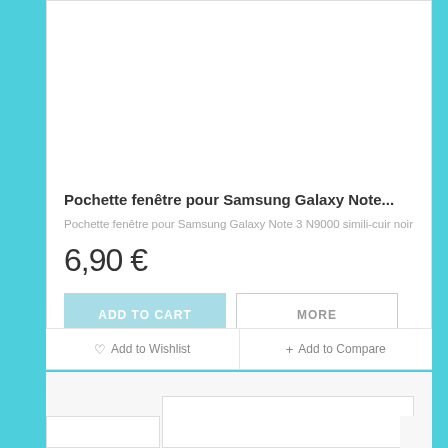[Figure (photo): Gray Samsung Galaxy Note phone wallet case with window, shown open/folded, light gray faux leather with stitching detail]
Pochette fenêtre pour Samsung Galaxy Note...
Pochette fenêtre pour Samsung Galaxy Note 3 N9000 simili-cuir noir
6,90 €
ADD TO CART
MORE
Out of stock
♡  Add to Wishlist
+  Add to Compare